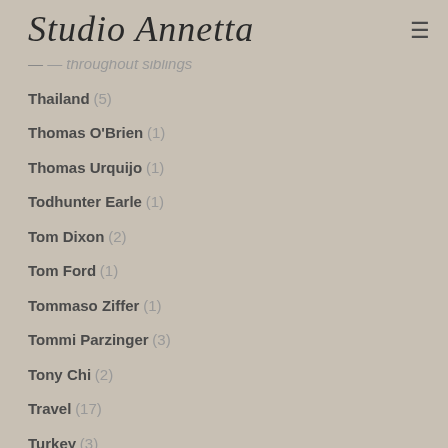Studio Annetta
Thailand (5)
Thomas O'Brien (1)
Thomas Urquijo (1)
Todhunter Earle (1)
Tom Dixon (2)
Tom Ford (1)
Tommaso Ziffer (1)
Tommi Parzinger (3)
Tony Chi (2)
Travel (17)
Turkey (3)
Uncategorized (23)
Updates (4)
Valentino (1)
Veere Grenney (2)